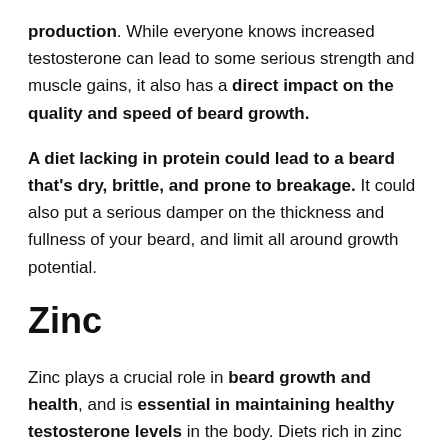production. While everyone knows increased testosterone can lead to some serious strength and muscle gains, it also has a direct impact on the quality and speed of beard growth.
A diet lacking in protein could lead to a beard that's dry, brittle, and prone to breakage. It could also put a serious damper on the thickness and fullness of your beard, and limit all around growth potential.
Zinc
Zinc plays a crucial role in beard growth and health, and is essential in maintaining healthy testosterone levels in the body. Diets rich in zinc have been shown to improve the quality of hair, and some studies have even shown that zinc is capable of reversing premature gray hair back to it's original